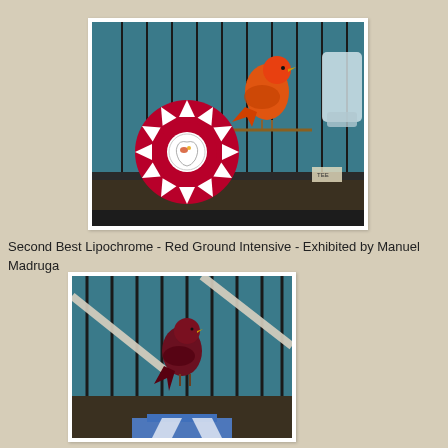[Figure (photo): An orange-red canary bird perched in a show cage with a large crimson and white ribbon rosette award in the foreground. The rosette has an official logo/medallion in the center.]
Second Best Lipochrome - Red Ground Intensive - Exhibited by Manuel Madruga
[Figure (photo): A deep red/maroon canary bird perched inside a show cage, viewed from the front through cage bars, with a blue ribbon/award partially visible at the bottom of the frame.]